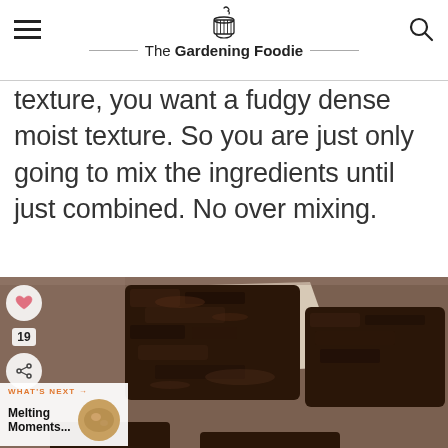The Gardening Foodie
texture, you want a fudgy dense moist texture. So you are just only going to mix the ingredients until just combined. No over mixing.
[Figure (photo): Close-up photo of fudgy chocolate brownies on parchment paper with a crinkly top]
WHAT'S NEXT → Melting Moments...